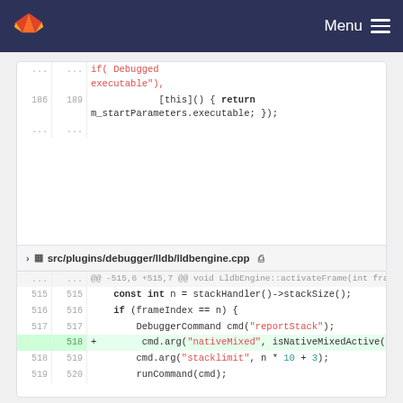GitLab — Menu
[Figure (screenshot): Code diff block showing lines 185-186 and 189, with lambda capture returning m_startParameters.executable]
src/plugins/debugger/lldb/lldbengine.cpp
[Figure (screenshot): Code diff block for lldbengine.cpp lines 515-519/520, showing activateFrame function with added line 518: cmd.arg("nativeMixed", isNativeMixedActive())]